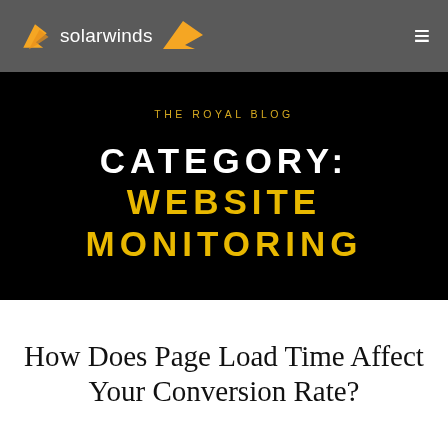solarwinds
THE ROYAL BLOG
CATEGORY: WEBSITE MONITORING
How Does Page Load Time Affect Your Conversion Rate?